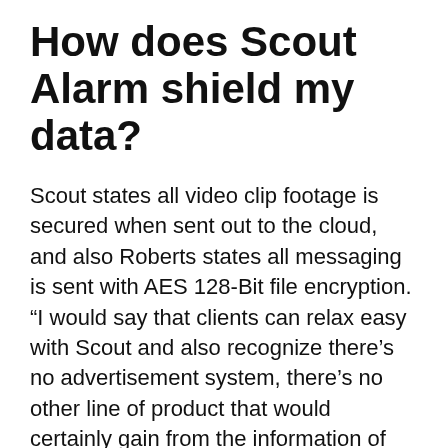How does Scout Alarm shield my data?
Scout states all video clip footage is secured when sent out to the cloud, and also Roberts states all messaging is sent with AES 128-Bit file encryption. “I would say that clients can relax easy with Scout and also recognize there’s no advertisement system, there’s no other line of product that would certainly gain from the information of what’s going on inside your house, as well as we’re really delicate about that,” stated Roberts. Due to the fact that Scout is so conveniently incorporated with various other gadgets, it’s still helpful to read the personal privacy plan and terms and conditions of other 3rd events to recognize better what legal rights each